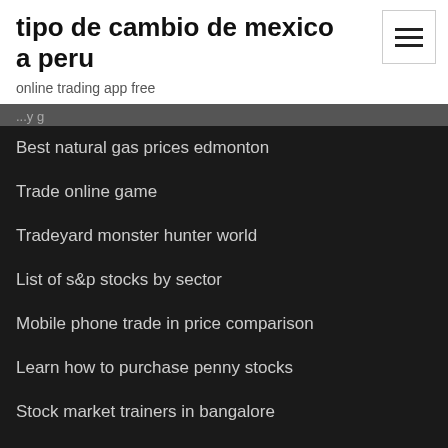tipo de cambio de mexico a peru
online trading app free
Best natural gas prices edmonton
Trade online game
Tradeyard monster hunter world
List of s&p stocks by sector
Mobile phone trade in price comparison
Learn how to purchase penny stocks
Stock market trainers in bangalore
Fx mmr
Stock trades taxes
Short term trading fee td